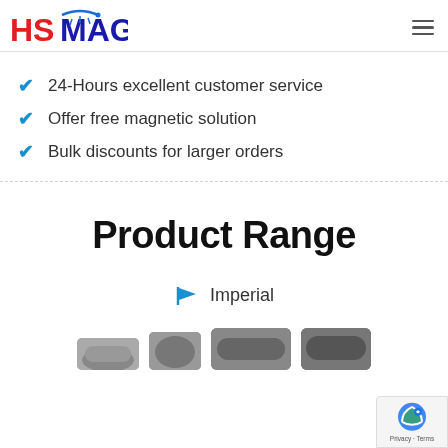HSMAG logo and navigation
24-Hours excellent customer service
Offer free magnetic solution
Bulk discounts for larger orders
Product Range
Imperial
[Figure (photo): Product thumbnails row at bottom of page — partial view of magnetic product images]